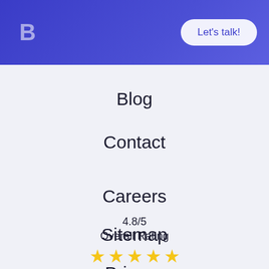B  Let's talk!
Blog
Contact
Careers
Sitemap
Privacy
4.8/5
Overall Rating
★★★★☆